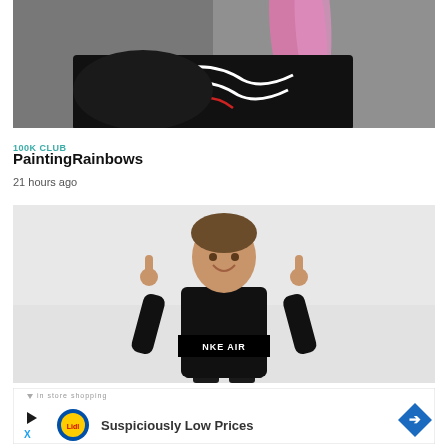[Figure (photo): Person with pink hair wearing a black graphic jacket, cropped view from shoulder up against grey background]
100K CLUB
PaintingRainbows
21 hours ago
[Figure (photo): Young boy wearing a black Nike Air jacket with both index fingers pointing upward, against a light grey background]
[Figure (screenshot): Lidl advertisement banner showing Lidl logo and text 'Suspiciously Low Prices' with a play button, X (Twitter) icon, and blue arrow sign]